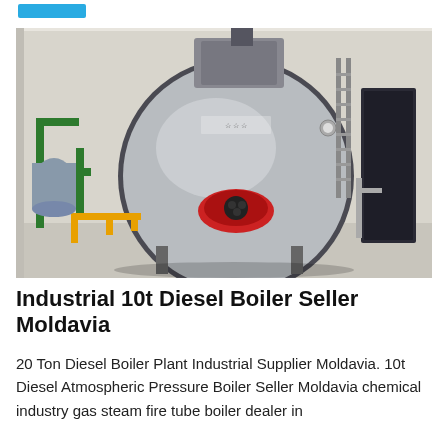[Figure (photo): Industrial fire tube boiler (10-20 ton diesel/gas steam boiler) installed in a building, showing the large cylindrical metal body with a red burner at the front, green and yellow piping on the left, and a dark storage unit on the right wall.]
Industrial 10t Diesel Boiler Seller Moldavia
20 Ton Diesel Boiler Plant Industrial Supplier Moldavia. 10t Diesel Atmospheric Pressure Boiler Seller Moldavia chemical industry gas steam fire tube boiler dealer in